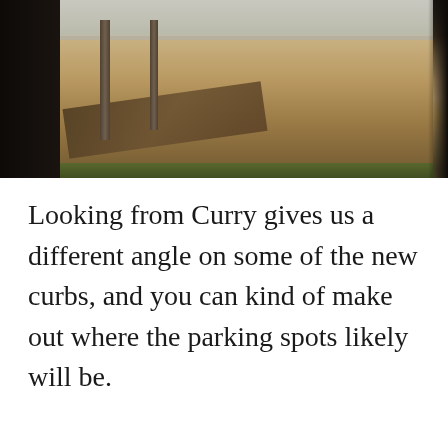[Figure (photo): Construction site viewed through dark framing, showing sandy/dirt ground with lumber boards, metal poles, and a chain-link fence in the background.]
Looking from Curry gives us a different angle on some of the new curbs, and you can kind of make out where the parking spots likely will be.
[Figure (photo): Construction site showing a beige building with arched colonnade, blue sky, dirt mounds, and orange excavators/mini excavators in the foreground.]